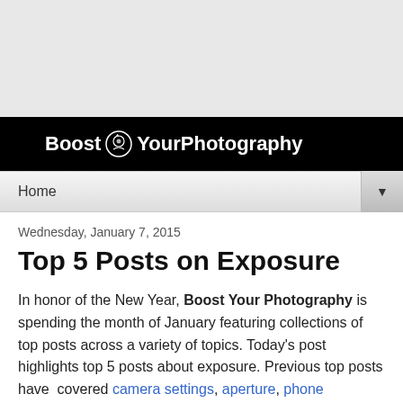[Figure (other): Gray advertisement banner placeholder at top of page]
Boost Your Photography
Home
Wednesday, January 7, 2015
Top 5 Posts on Exposure
In honor of the New Year, Boost Your Photography is spending the month of January featuring collections of top posts across a variety of topics. Today's post highlights top 5 posts about exposure. Previous top posts have covered camera settings, aperture, phone photography, DIY photography hacks, composition, lenses and accessories, top photography ideas, and more.